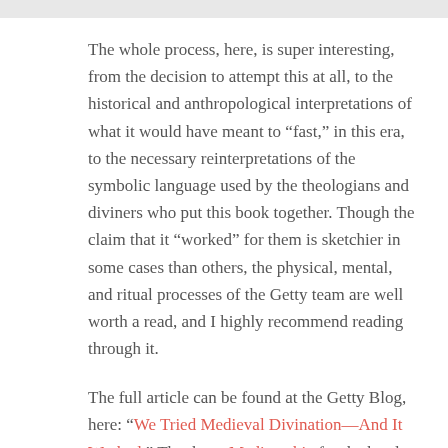The whole process, here, is super interesting, from the decision to attempt this at all, to the historical and anthropological interpretations of what it would have meant to “fast,” in this era, to the necessary reinterpretations of the symbolic language used by the theologians and diviners who put this book together. Though the claim that it “worked” for them is sketchier in some cases than others, the physical, mental, and ritual processes of the Getty team are well worth a read, and I highly recommend reading through it.
The full article can be found at the Getty Blog, here: “We Tried Medieval Divination—And It Worked.” Thanks to Mediapathic for the heads-up.
Songs played while writing this included: Weezer’s